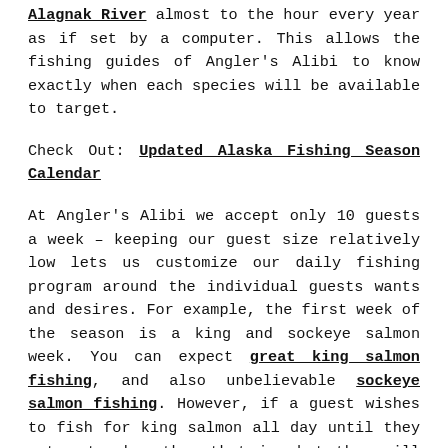Alagnak River almost to the hour every year as if set by a computer. This allows the fishing guides of Angler's Alibi to know exactly when each species will be available to target.
Check Out: Updated Alaska Fishing Season Calendar
At Angler's Alibi we accept only 10 guests a week – keeping our guest size relatively low lets us customize our daily fishing program around the individual guests wants and desires. For example, the first week of the season is a king and sockeye salmon week. You can expect great king salmon fishing, and also unbelievable sockeye salmon fishing. However, if a guest wishes to fish for king salmon all day until they get a trophy, then that is what they will have the